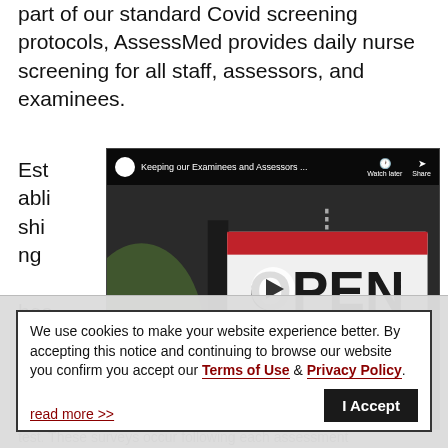part of our standard Covid screening protocols, AssessMed provides daily nurse screening for all staff, assessors, and examinees.
Establishing health and
[Figure (screenshot): YouTube video thumbnail showing an OPEN sign with video title 'Keeping our Examinees and Assessors ...' with Watch later and Share controls]
We use cookies to make your website experience better. By accepting this notice and continuing to browse our website you confirm you accept our Terms of Use & Privacy Policy.
read more >>
test. These surveys occur following each assessment